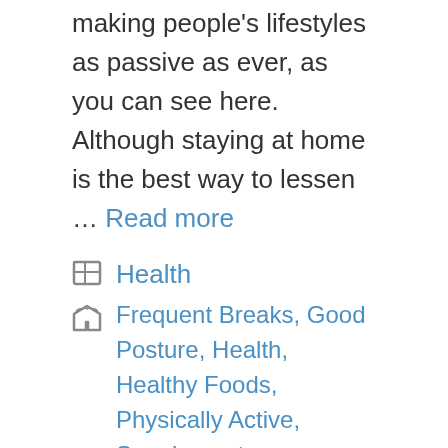making people's lifestyles as passive as ever, as you can see here. Although staying at home is the best way to lessen … Read more
Health
Frequent Breaks, Good Posture, Health, Healthy Foods, Physically Active, Supplements
How Accurate Are Smartphone Heart Rate Monitors?